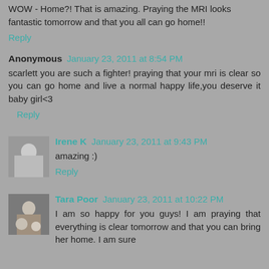WOW - Home?! That is amazing. Praying the MRI looks fantastic tomorrow and that you all can go home!!
Reply
Anonymous  January 23, 2011 at 8:54 PM
scarlett you are such a fighter! praying that your mri is clear so you can go home and live a normal happy life,you deserve it baby girl<3
Reply
Irene K  January 23, 2011 at 9:43 PM
amazing :)
Reply
Tara Poor  January 23, 2011 at 10:22 PM
I am so happy for you guys! I am praying that everything is clear tomorrow and that you can bring her home. I am sure